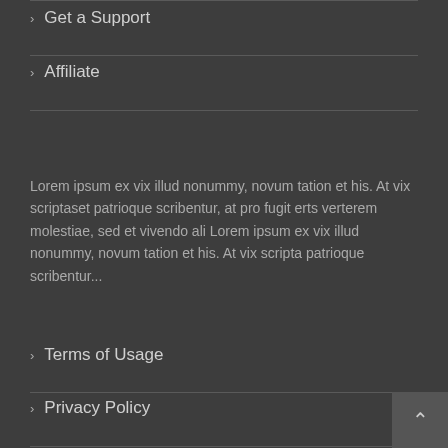> Get a Support
> Affiliate
Lorem ipsum ex vix illud nonummy, novum tation et his. At vix scriptaset patrioque scribentur, at pro fugit erts verterem molestiae, sed et vivendo ali Lorem ipsum ex vix illud nonummy, novum tation et his. At vix scripta patrioque scribentur...
> Terms of Usage
> Privacy Policy